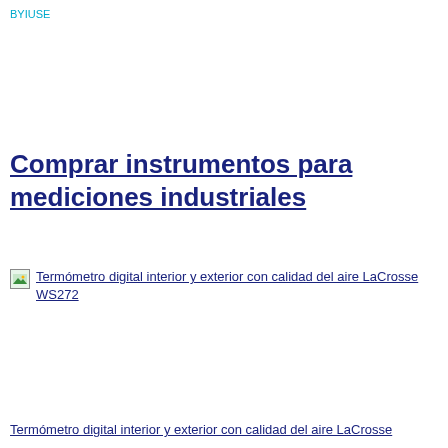BYIUSE
Comprar instrumentos para mediciones industriales
Termómetro digital interior y exterior con calidad del aire LaCrosse WS272
Termómetro digital interior y exterior con calidad del aire LaCrosse